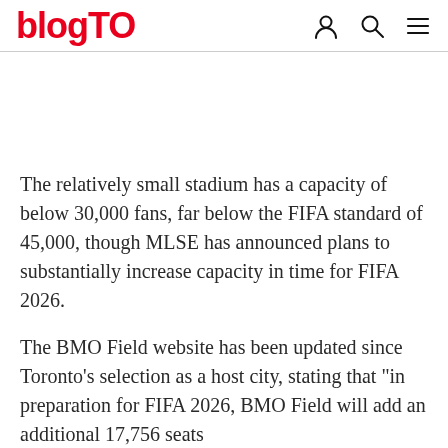blogTO
The relatively small stadium has a capacity of below 30,000 fans, far below the FIFA standard of 45,000, though MLSE has announced plans to substantially increase capacity in time for FIFA 2026.
The BMO Field website has been updated since Toronto's selection as a host city, stating that "in preparation for FIFA 2026, BMO Field will add an additional 17,756 seats – bringing total capacity to 45,736 seats."